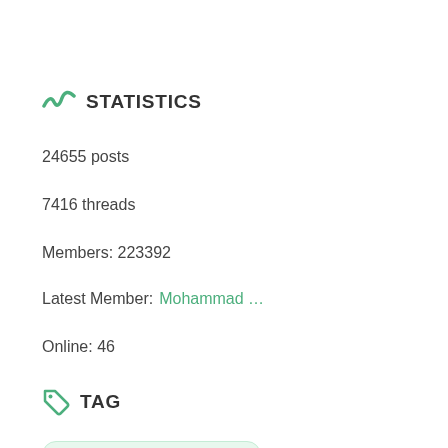STATISTICS
24655 posts
7416 threads
Members: 223392
Latest Member:  Mohammad …
Online: 46
TAG
#USB #airdoidpc #airdroidweb
<font><font>Tidak ada saran</font... 10002 10802
11004 11200 2 3G4G connection
@santosrudy0586 AirDroid Mac